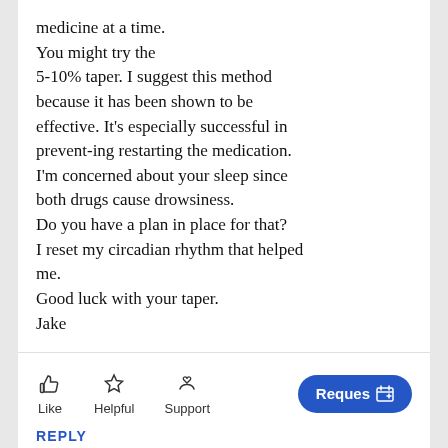medicine at a time.
You might try the
5-10% taper. I suggest this method because it has been shown to be effective. It's especially successful in prevent-ing restarting the medication.
I'm concerned about your sleep since both drugs cause drowsiness.
Do you have a plan in place for that?
I reset my circadian rhythm that helped me.
Good luck with your taper.
Jake
[Figure (infographic): Action buttons row with Like (thumbs up icon), Helpful (star icon), Support (hands with heart icon), and a blue Request button with calendar icon on the right.]
REPLY